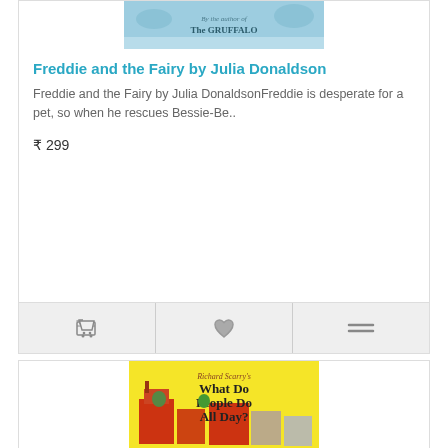[Figure (screenshot): Book cover for Freddie and the Fairy by Julia Donaldson - blue toned cover with text 'By the author of THE GRUFFALO']
Freddie and the Fairy by Julia Donaldson
Freddie and the Fairy by Julia DonaldsonFreddie is desperate for a pet, so when he rescues Bessie-Be..
₹ 299
[Figure (other): Action bar with cart icon, heart/wishlist icon, and compare icon on grey background]
[Figure (screenshot): Book cover for Richard Scarry's What Do People Do All Day? - yellow background with illustrated town scene featuring red buildings and various characters]